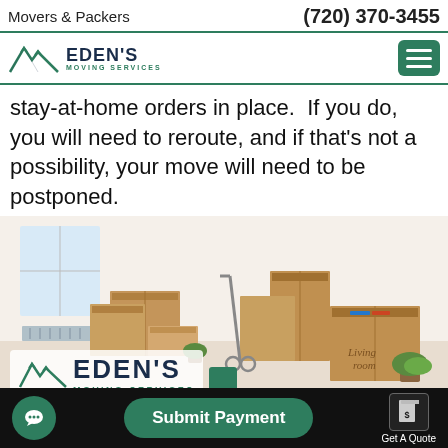Movers & Packers   (720) 370-3455
[Figure (logo): Eden's Moving Services logo — mountain peaks icon with company name]
stay-at-home orders in place. If you do, you will need to reroute, and if that's not a possibility, your move will need to be postponed.
[Figure (photo): Photo of a room filled with moving boxes, including a large box labeled 'Living room', a hand truck/dolly, and potted plants. Eden's Moving Services logo overlaid on the bottom-left of the image with a green square icon.]
What is an easy moving process?
[Figure (screenshot): Bottom toolbar with chat button (green circle with chat icon), Submit Payment button (green rounded rectangle), and Get A Quote button (document icon with dollar sign)]